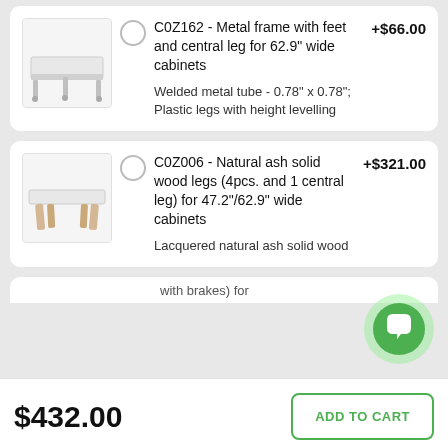[Figure (other): Product card for C0Z162 metal frame with feet and central leg. Shows a white metal bed frame image. Radio button unselected. Price +$66.00. Description: Welded metal tube - 0.78" x 0.78"; Plastic legs with height levelling.]
[Figure (other): Product card for C0Z006 natural ash solid wood legs. Shows a white table with wood legs image. Radio button unselected. Price +$321.00. Description: Lacquered natural ash solid wood.]
$432.00
ADD TO CART
with brakes) for